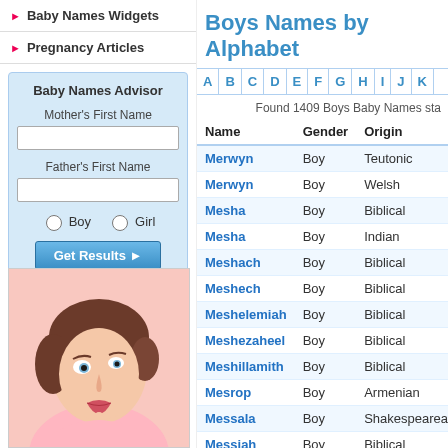Baby Names Widgets
Pregnancy Articles
Baby Names Advisor
Mother's First Name
Father's First Name
Boy  Girl
Get Results
[Figure (photo): Photo of a young woman looking upward thoughtfully, with brown hair, against a light pink background]
Boys Names by Alphabet
A B C D E F G H I J K
Found 1409 Boys Baby Names sta
| Name | Gender | Origin |
| --- | --- | --- |
| Merwyn | Boy | Teutonic |
| Merwyn | Boy | Welsh |
| Mesha | Boy | Biblical |
| Mesha | Boy | Indian |
| Meshach | Boy | Biblical |
| Meshech | Boy | Biblical |
| Meshelemiah | Boy | Biblical |
| Meshezaheel | Boy | Biblical |
| Meshillamith | Boy | Biblical |
| Mesrop | Boy | Armenian |
| Messala | Boy | Shakespearean |
| Messiah | Boy | Biblical |
| Mesut | Boy | Turkish |